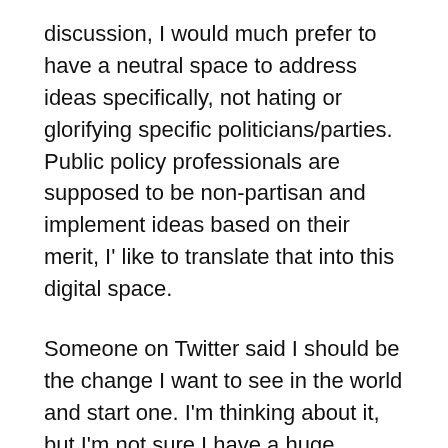discussion, I would much prefer to have a neutral space to address ideas specifically, not hating or glorifying specific politicians/parties. Public policy professionals are supposed to be non-partisan and implement ideas based on their merit, I' like to translate that into this digital space.
Someone on Twitter said I should be the change I want to see in the world and start one. I'm thinking about it, but I'm not sure I have a huge appetite for moderating the discussions that often come with politics.
I'm a fan of the Hacker News template, and